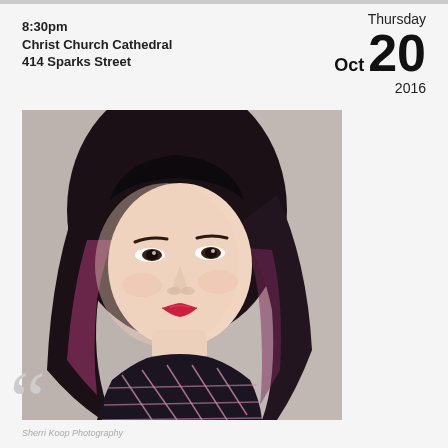8:30pm
Christ Church Cathedral
414 Sparks Street
Thursday
Oct 20
2016
[Figure (photo): Portrait photo of a young Asian woman with long dark hair with reddish highlights, wearing a dark top with pink grid lines, red lipstick, smiling at camera in a professional headshot style]
Sherri Koop Photography